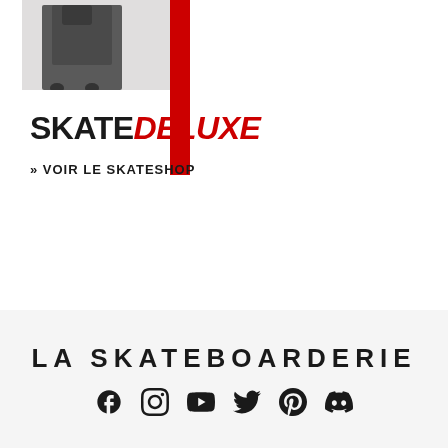[Figure (photo): Black and white photo of a skateboarder, partially visible, with a red vertical bar accent element overlaid]
SKATEDELUXE
» VOIR LE SKATESHOP
LA SKATEBOARDERIE
[Figure (other): Row of social media icons: Facebook, Instagram, YouTube, Twitter, Pinterest, Discord]